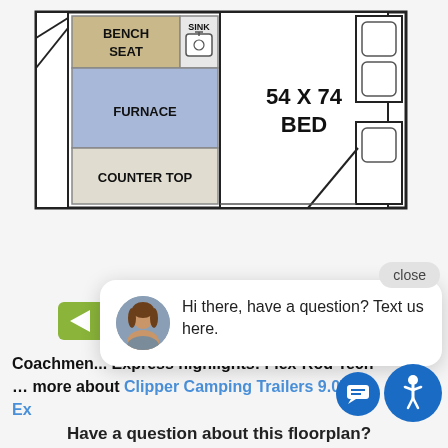[Figure (schematic): Camping trailer floorplan diagram showing: BENCH SEAT (top-left, tan/beige), SINK (top-center), FURNACE (center-left, blue), COUNTER TOP (bottom-left), 54 X 74 BED (center-right, white), storage compartments (right side)]
[Figure (screenshot): Chat popup overlay with close button, green bar, avatar of woman, text: 'Hi there, have a question? Text us here.']
Coachmen... Express highlights: Flex-Rod Tech ... more about Clipper Camping Trailers 9.0TD Ex...
Have a question about this floorplan?